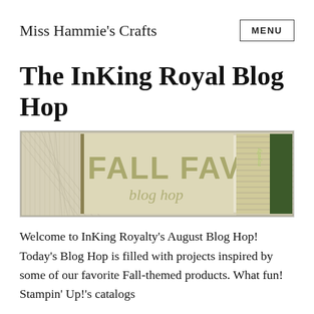Miss Hammie's Crafts
The InKing Royal Blog Hop
[Figure (illustration): Fall Favs blog hop banner image with olive green and tan background, large text reading FALL FAVS blog hop, with InKing royalty branding on the right side]
Welcome to InKing Royalty's August Blog Hop! Today's Blog Hop is filled with projects inspired by some of our favorite Fall-themed products. What fun! Stampin' Up!'s catalogs